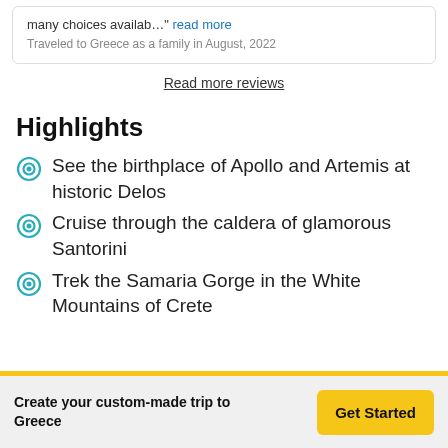many choices availab…" read more
Traveled to Greece as a family in August, 2022
Read more reviews
Highlights
See the birthplace of Apollo and Artemis at historic Delos
Cruise through the caldera of glamorous Santorini
Trek the Samaria Gorge in the White Mountains of Crete
Create your custom-made trip to Greece
Get Started